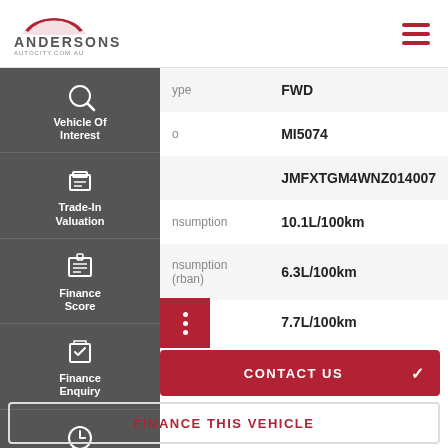[Figure (logo): Andersons Auto City logo with red car silhouette]
| Field | Value |
| --- | --- |
| ype | FWD |
| o | MI5074 |
|  | JMFXTGM4WNZ014007 |
| nsumption | 10.1L/100km |
| nsumption (rban) | 6.3L/100km |
| tion | 7.7L/100km |
CONTACT US
FINANCE THIS VEHICLE